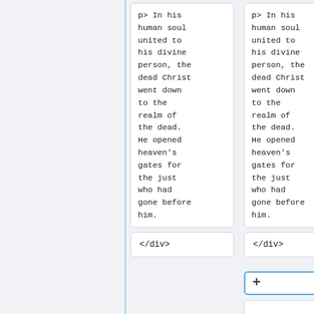p> In his human soul united to his divine person, the dead Christ went down to the realm of the dead. He opened heaven's gates for the just who had gone before him.
p> In his human soul united to his divine person, the dead Christ went down to the realm of the dead. He opened heaven's gates for the just who had gone before him.
</div>
</div>